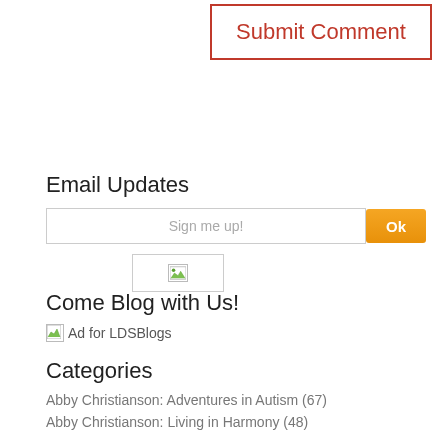[Figure (screenshot): Submit Comment button with red border and red text on white background]
Email Updates
[Figure (screenshot): Email input field with placeholder text 'Sign me up!' and orange Ok button]
[Figure (other): Broken image placeholder]
Come Blog with Us!
[Figure (other): Ad for LDSBlogs broken image]
Categories
Abby Christianson: Adventures in Autism (67)
Abby Christianson: Living in Harmony (48)